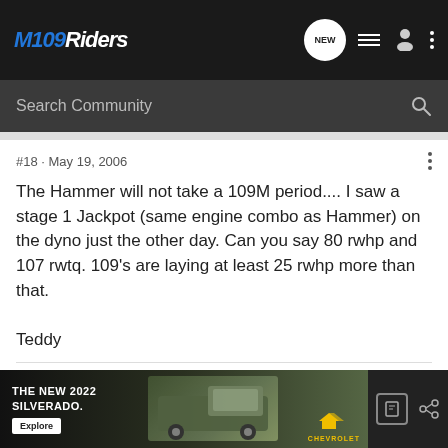M109Riders
Search Community
#18 · May 19, 2006
The Hammer will not take a 109M period.... I saw a stage 1 Jackpot (same engine combo as Hammer) on the dyno just the other day. Can you say 80 rwhp and 107 rwtq. 109's are laying at least 25 rwhp more than that.

Teddy
Teddy Popee<br />McCalla, Al.<br />2003 Blurple VTX
[Figure (screenshot): Advertisement for The New 2022 Silverado by Chevrolet with an Explore button]